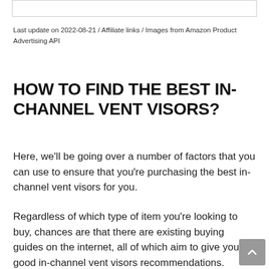Last update on 2022-08-21 / Affiliate links / Images from Amazon Product Advertising API
HOW TO FIND THE BEST IN-CHANNEL VENT VISORS?
Here, we'll be going over a number of factors that you can use to ensure that you're purchasing the best in-channel vent visors for you.
Regardless of which type of item you're looking to buy, chances are that there are existing buying guides on the internet, all of which aim to give you good in-channel vent visors recommendations.